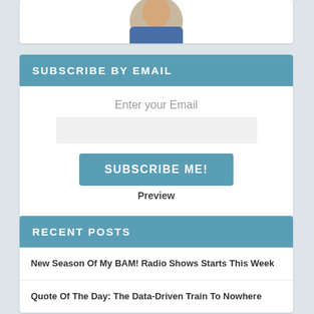[Figure (photo): Circular profile photo of a person partially visible at top of page]
SUBSCRIBE BY EMAIL
Enter your Email
SUBSCRIBE ME!
Preview
RECENT POSTS
New Season Of My BAM! Radio Shows Starts This Week
Quote Of The Day: The Data-Driven Train To Nowhere